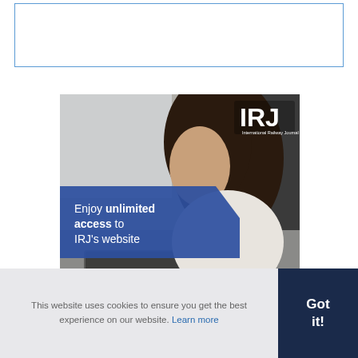[Figure (illustration): Empty blue-bordered rectangular box at the top of the page, likely a placeholder for an image or advertisement.]
[Figure (illustration): IRJ (International Railway Journal) advertisement showing a woman on a train using a laptop and phone. Blue banner overlay reads 'Enjoy unlimited access to IRJ's website'. IRJ logo in top right. Subscribe button at bottom right.]
This website uses cookies to ensure you get the best experience on our website. Learn more
Got it!